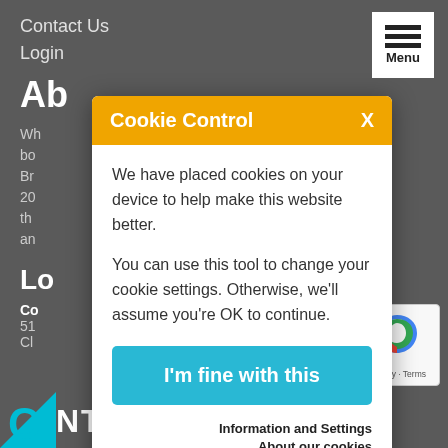Contact Us
Login
Ab...
Wh... boat or your first bo... essional Yacht Br... to assist. Since 20... advisor throughout th... g an offer, to sea trial an...
Lo...
Co...
51...
Cl...
Cookie Control
We have placed cookies on your device to help make this website better.
You can use this tool to change your cookie settings. Otherwise, we'll assume you're OK to continue.
I'm fine with this
Information and Settings
About our cookies
C  NTACT